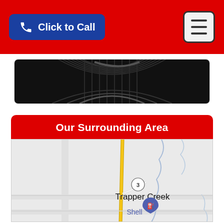Click to Call
[Figure (photo): Black fan or grill product image, partially cropped at top]
Our Surrounding Area
[Figure (map): Google Maps view showing Trapper Creek area with a yellow highway (Route 3), river/creek lines, and a Shell gas station marker]